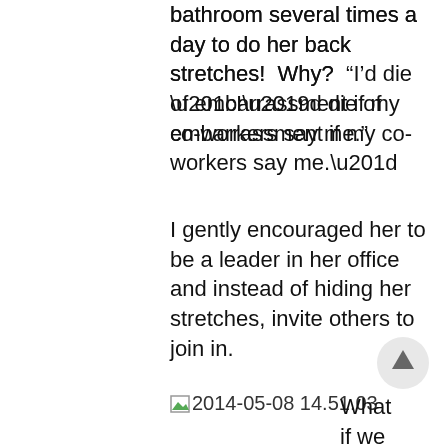bathroom several times a day to do her back stretches!  Why?  “I’d die of embarrassment if my co-workers say me.”
I gently encouraged her to be a leader in her office and instead of hiding her stretches, invite others to join in.
[Figure (other): Broken image placeholder with filename text: 2014-05-08 14.51.03]
What if we each